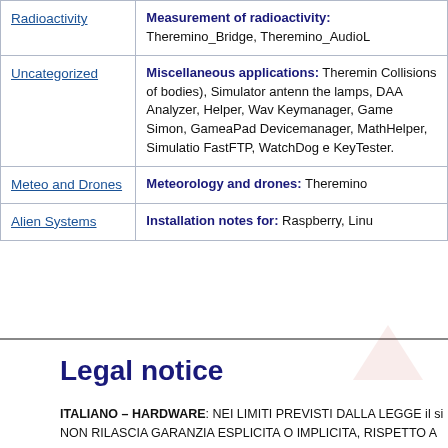| Category | Description |
| --- | --- |
| Radioactivity | Measurement of radioactivity: Theremino_Bridge, Theremino_AudioL |
| Uncategorized | Miscellaneous applications: Theremino... Collisions of bodies), Simulator antenn the lamps, DAA Analyzer, Helper, Wav Keymanager, Game Simon, GameaPad Devicemanager, MathHelper, Simulatio FastFTP, WatchDog e KeyTester. |
| Meteo and Drones | Meteorology and drones: Theremino |
| Alien Systems | Installation notes for: Raspberry, Linu |
Legal notice
ITALIANO – HARDWARE: NEI LIMITI PREVISTI DALLA LEGGE il si NON RILASCIA GARANZIA ESPLICITA O IMPLICITA, RISPETTO A...